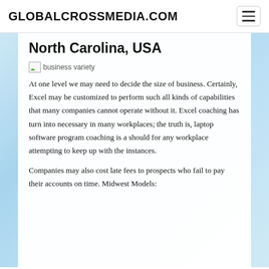GLOBALCROSSMEDIA.COM
North Carolina, USA
[Figure (photo): Broken image placeholder labeled 'business variety']
At one level we may need to decide the size of business. Certainly, Excel may be customized to perform such all kinds of capabilities that many companies cannot operate without it. Excel coaching has turn into necessary in many workplaces; the truth is, laptop software program coaching is a should for any workplace attempting to keep up with the instances.
Companies may also cost late fees to prospects who fail to pay their accounts on time. Midwest Models: